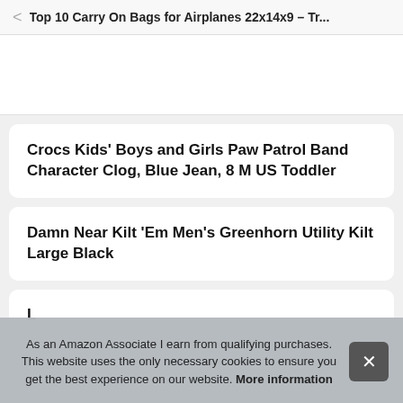Top 10 Carry On Bags for Airplanes 22x14x9 – Tr...
Crocs Kids' Boys and Girls Paw Patrol Band Character Clog, Blue Jean, 8 M US Toddler
Damn Near Kilt 'Em Men's Greenhorn Utility Kilt Large Black
L
As an Amazon Associate I earn from qualifying purchases. This website uses the only necessary cookies to ensure you get the best experience on our website. More information